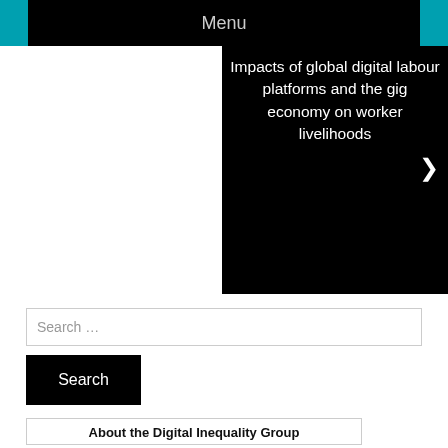Menu
Impacts of global digital labour platforms and the gig economy on worker livelihoods
Search …
Search
About the Digital Inequality Group
[Figure (illustration): Colorful illustration showing stylized human figures against a world map background in teal/blue tones]